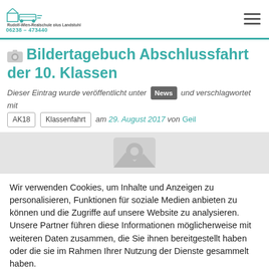Rudolf-Wien-Realschule plus Landstuhl — 06238 – 473440
Bildertagebuch Abschlussfahrt der 10. Klassen
Dieser Eintrag wurde veröffentlicht unter News und verschlagwortet mit AK18 Klassenfahrt am 29. August 2017 von Geil
[Figure (photo): Placeholder image icon for photo gallery]
Wir verwenden Cookies, um Inhalte und Anzeigen zu personalisieren, Funktionen für soziale Medien anbieten zu können und die Zugriffe auf unsere Website zu analysieren. Unsere Partner führen diese Informationen möglicherweise mit weiteren Daten zusammen, die Sie ihnen bereitgestellt haben oder die sie im Rahmen Ihrer Nutzung der Dienste gesammelt haben.